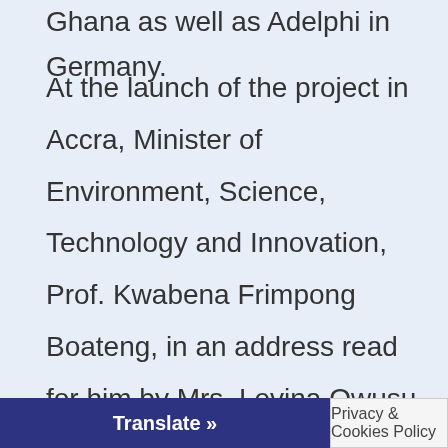Ghana as well as Adelphi in Germany.
At the launch of the project in Accra, Minister of Environment, Science, Technology and Innovation, Prof. Kwabena Frimpong Boateng, in an address read for him by Mrs. Levina Owusu, Director of Policy Planning, Monitoring and Evaluation at the Ministry highlighted the need to promote a healthy environment in Ghana and welcomed the intervention, funded by the EU to support this agenda.
She explained that interventions such as the E-